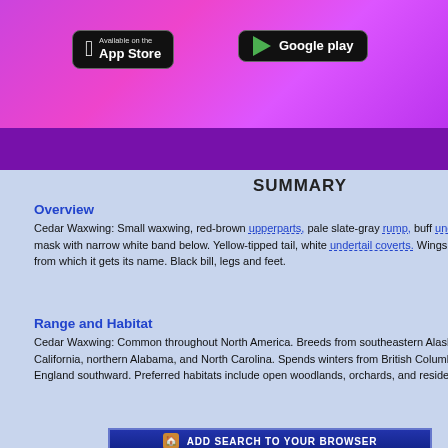[Figure (screenshot): App Store and Google Play download buttons on purple/pink gradient background]
SUMMARY
Overview
Cedar Waxwing: Small waxwing, red-brown upperparts, pale slate-gray rump, buff underparts. Head is crested, has black mask with narrow white band below. Yellow-tipped tail, white undertail coverts. Wings have red wax-like tips on secondaries from which it gets its name. Black bill, legs and feet.
Range and Habitat
Cedar Waxwing: Common throughout North America. Breeds from southeastern Alaska east to Newfoundland and south to California, northern Alabama, and North Carolina. Spends winters from British Columbia, the Great Lakes region, and New England southward. Preferred habitats include open woodlands, orchards, and residential areas.
[Figure (other): ADD SEARCH TO YOUR BROWSER button]
CEDAR WAXWING SONGS AND CALLS
Cedar Waxwing PP2
[Figure (photo): Adult Cedar Waxwing bird photo with red berries, and Juvenile label below]